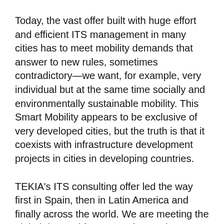Today, the vast offer built with huge effort and efficient ITS management in many cities has to meet mobility demands that answer to new rules, sometimes contradictory—we want, for example, very individual but at the same time socially and environmentally sustainable mobility. This Smart Mobility appears to be exclusive of very developed cities, but the truth is that it coexists with infrastructure development projects in cities in developing countries.
TEKIA's ITS consulting offer led the way first in Spain, then in Latin America and finally across the world. We are meeting the global demand for ITS equipment in new and existing transport processes and infrastructures (highways, road networks, tunnels, rail networks, multimodal public transport systems, parking lots and transit hubs, etc.).